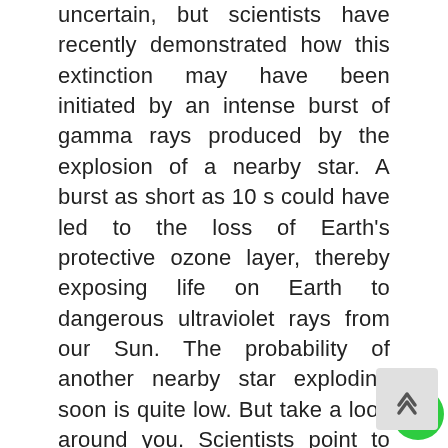uncertain, but scientists have recently demonstrated how this extinction may have been initiated by an intense burst of gamma rays produced by the explosion of a nearby star. A burst as short as 10 s could have led to the loss of Earth's protective ozone layer, thereby exposing life on Earth to dangerous ultraviolet rays from our Sun. The probability of another nearby star exploding soon is quite low. But take a look around you. Scientists point to the sixth mass extinction as occurring right now. Discuss possible causes of this mass extinction. How long might this mass extinction take? What